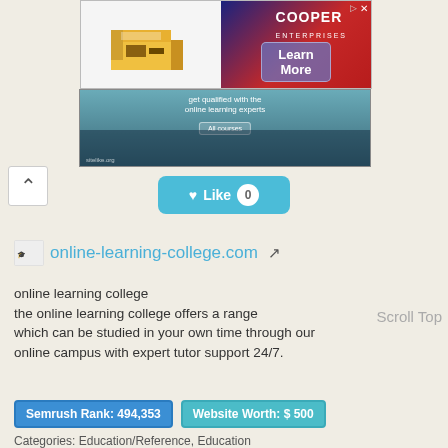[Figure (screenshot): Advertisement banner for Cooper Enterprises with an isometric laser cutter illustration on the left, and a 'Learn More' button on a dark blue/red background on the right.]
[Figure (screenshot): Screenshot of online-learning-college.com showing a person with laptop and text 'get qualified with the online learning experts' with 'All courses' button. sitelike.org watermark at bottom.]
[Figure (other): Heart Like button with count 0, teal/blue rounded rectangle button]
online-learning-college.com
online learning college
the online learning college offers a range which can be studied in your own time through our online campus with expert tutor support 24/7.
Semrush Rank: 494,353
Website Worth: $ 500
Categories: Education/Reference, Education